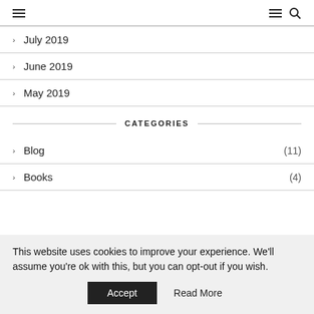≡  ≡ 🔍
July 2019
June 2019
May 2019
CATEGORIES
Blog (11)
Books (4)
This website uses cookies to improve your experience. We'll assume you're ok with this, but you can opt-out if you wish. Accept  Read More